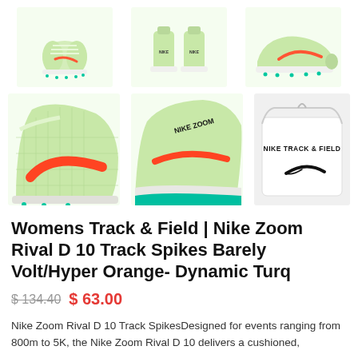[Figure (photo): Three product photos of Nike Zoom Rival D 10 Track Spikes in Barely Volt/Hyper Orange/Dynamic Turquoise colorway: front view showing pair of shoes from front, back view of heel area, and side profile view showing full shoe with spikes]
[Figure (photo): Three more product photos: close-up of shoe upper showing mesh and orange swoosh, close-up of sole/midsole area showing turquoise spike plate, and Nike Track & Field white drawstring bag with swoosh logo]
Womens Track & Field | Nike Zoom Rival D 10 Track Spikes Barely Volt/Hyper Orange- Dynamic Turq
$ 134.40  $ 63.00
Nike Zoom Rival D 10 Track SpikesDesigned for events ranging from 800m to 5K, the Nike Zoom Rival D 10 delivers a cushioned,